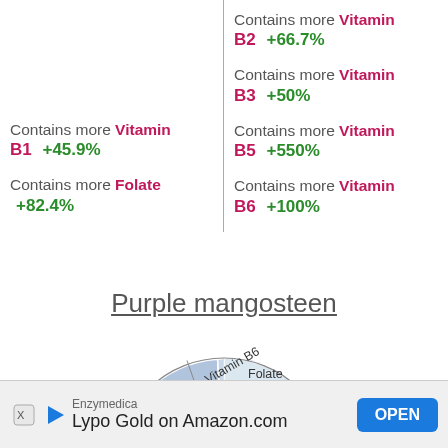Contains more Vitamin B2 +66.7%
Contains more Vitamin B3 +50%
Contains more Vitamin B1 +45.9%
Contains more Vitamin B5 +550%
Contains more Folate +82.4%
Contains more Vitamin B6 +100%
Purple mangosteen
[Figure (pie-chart): Purple mangosteen vitamins]
Enzymedica Lypo Gold on Amazon.com OPEN